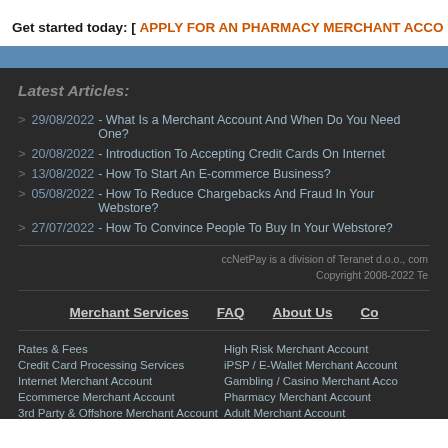Get started today: [ APPLY FOR AN PHARMACY MERCHANT ACCO...
Latest Articles:
29/08/2022 - What Is a Merchant Account And When Do You Need One?
20/08/2022 - Introduction To Accepting Credit Cards On Internet
13/08/2022 - How To Start An E-commerce Business?
05/08/2022 - How To Reduce Chargebacks And Fraud In Your Webstore?
27/07/2022 - How To Convince People To Buy In Your Webstore?
ccNetPay is a division of Teranet d.o.o., com
Copyright 2008-2022 Te
Merchant Services   FAQ   About Us   Co...
Rates & Fees | Credit Card Processing Services | Internet Merchant Account | Ecommerce Merchant Account | 3rd Party & Offshore Merchant Account | High Risk Merchant Account | iPSP / E-Wallet Merchant Account | Gambling / Casino Merchant Acco... | Pharmacy Merchant Account | Adult Merchant Account